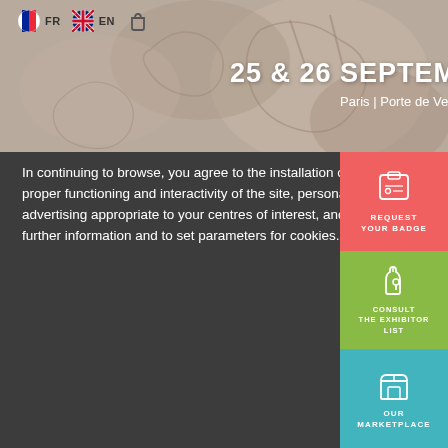FR  EN
25 & 26 SEPTEMBER
Paris | Porte de Versailles
In continuing to browse, you agree to the installation of cookies designed to ensure the proper functioning and interactivity of the site, personalise your browsing, enable targeted advertising appropriate to your centres of interest, and measure the site's audience. For further information and to set parameters for cookies. click here
Acce
REQUEST YOUR BADGE
CONSULT THE EXHIBITOR LIST
OUR MARKETPLACE